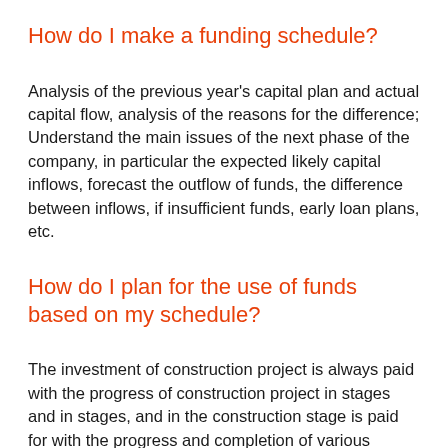How do I make a funding schedule?
Analysis of the previous year's capital plan and actual capital flow, analysis of the reasons for the difference; Understand the main issues of the next phase of the company, in particular the expected likely capital inflows, forecast the outflow of funds, the difference between inflows, if insufficient funds, early loan plans, etc.
How do I plan for the use of funds based on my schedule?
The investment of construction project is always paid with the progress of construction project in stages and in stages, and in the construction stage is paid for with the progress and completion of various projects, so the preparation of the construction phase fund use plan can not be separated from the construction schedule, must be